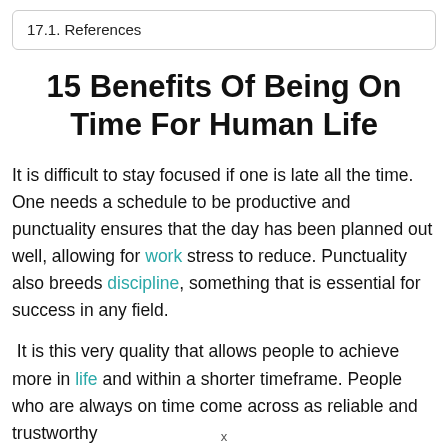17.1. References
15 Benefits Of Being On Time For Human Life
It is difficult to stay focused if one is late all the time. One needs a schedule to be productive and punctuality ensures that the day has been planned out well, allowing for work stress to reduce. Punctuality also breeds discipline, something that is essential for success in any field.
It is this very quality that allows people to achieve more in life and within a shorter timeframe. People who are always on time come across as reliable and trustworthy
x